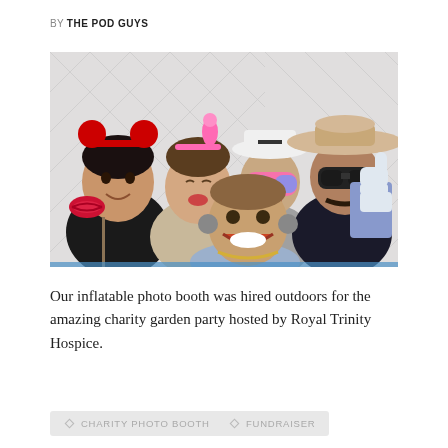BY THE POD GUYS
[Figure (photo): Group of five adults in a photo booth, wearing fun props including red Minnie Mouse ears, a pink flamingo headband, oversized pink sunglasses, a white Panama hat, a wide-brim straw hat, and holding a large Facebook thumbs-up sign and a red lips prop on a stick. White quilted backdrop.]
Our inflatable photo booth was hired outdoors for the amazing charity garden party hosted by Royal Trinity Hospice.
CHARITY PHOTO BOOTH
FUNDRAISER